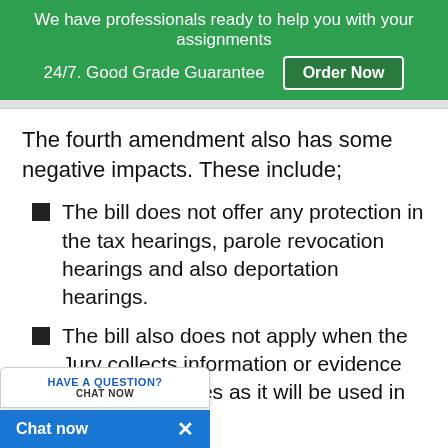We have professionals ready to help you with your assignments 24/7. Good Grade Guarantee Order Now
The fourth amendment also has some negative impacts. These include;
The bill does not offer any protection in the tax hearings, parole revocation hearings and also deportation hearings.
The bill also does not apply when the Jury collects information or evidence [from outside] the United States as it will be used in the prosecution.
t apply when a person who